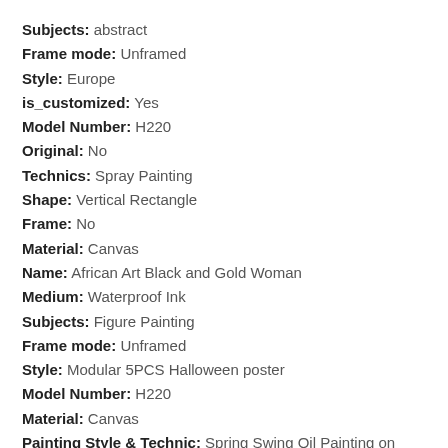Subjects: abstract
Frame mode: Unframed
Style: Europe
is_customized: Yes
Model Number: H220
Original: No
Technics: Spray Painting
Shape: Vertical Rectangle
Frame: No
Material: Canvas
Name: African Art Black and Gold Woman
Medium: Waterproof Ink
Subjects: Figure Painting
Frame mode: Unframed
Style: Modular 5PCS Halloween poster
Model Number: H220
Material: Canvas
Painting Style & Technic: Spring Swing Oil Painting on Canvas Pierre Auguste Cot Spring
Unframed: Canvas printed only( without frame)